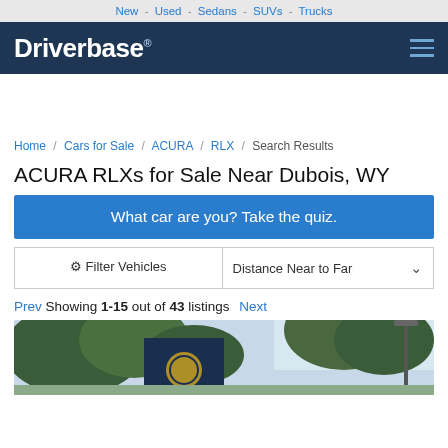New - Used - Sedans - SUVs - Trucks
Driverbase ®
Home / Cars for Sale / ACURA / RLX / Search Results
ACURA RLXs for Sale Near Dubois, WY
What car are you? Take the quiz.
Filter Vehicles   Distance Near to Far
Prev  Showing 1-15 out of 43 listings  Next
[Figure (photo): Bottom portion of a car dealership exterior with trees and a street lamp visible, partially cropped]